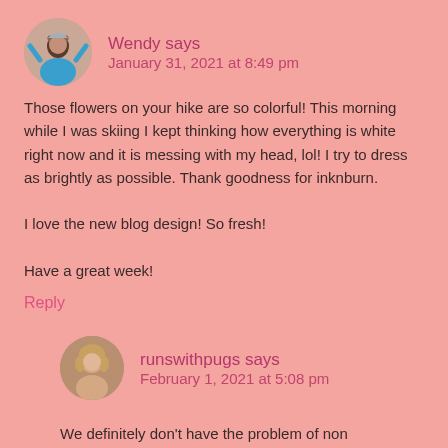[Figure (photo): Round avatar photo of Wendy, a woman with arms raised]
Wendy says
January 31, 2021 at 8:49 pm
Those flowers on your hike are so colorful! This morning while I was skiing I kept thinking how everything is white right now and it is messing with my head, lol! I try to dress as brightly as possible. Thank goodness for inknburn.

I love the new blog design! So fresh!

Have a great week!
Reply
[Figure (photo): Round avatar photo of runswithpugs, a woman with blonde hair]
runswithpugs says
February 1, 2021 at 5:08 pm
We definitely don't have the problem of non